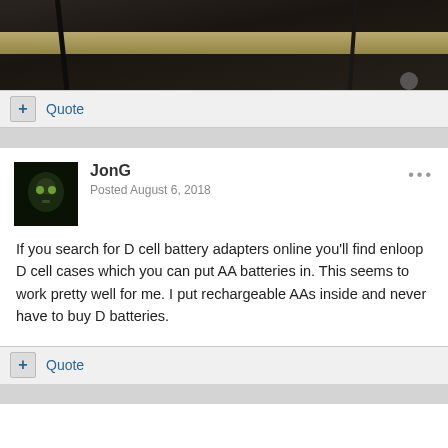[Figure (photo): Partial photo of electronic equipment on a wooden surface with cables visible]
+ Quote
JonG
Posted August 6, 2018
If you search for D cell battery adapters online you'll find enloop D cell cases which you can put AA batteries in. This seems to work pretty well for me. I put rechargeable AAs inside and never have to buy D batteries.
+ Quote